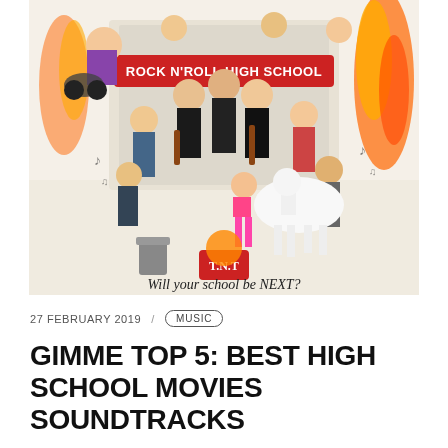[Figure (illustration): Colorful cartoon illustration for 'Rock N Roll High School' movie poster featuring numerous caricatured characters including punk rock musicians, students, and a white horse, with the text 'Rock N Roll High School' on a banner and 'Will your school be NEXT?' at the bottom. Characters include The Ramones, fire, explosions, a motorcycle, TNT box, and various school imagery.]
27 FEBRUARY 2019  /  MUSIC
GIMME TOP 5: BEST HIGH SCHOOL MOVIES SOUNDTRACKS